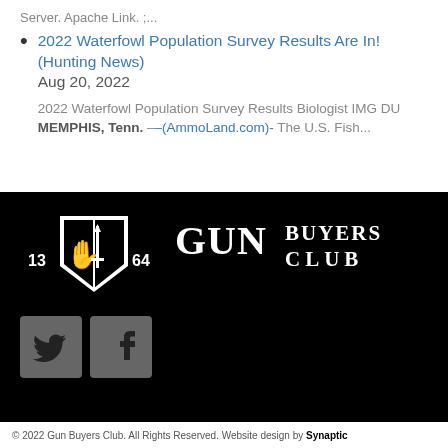Server. Apache Link. ;...
2022 Waterfowl Population Survey Results Are In! (Hunting News) Aug 20, 2022
2022 Waterfowl Population Survey Results Biologist IMG DU MEMPHIS, Tenn. –-(AmmoLand.com)- The U.S. Fish...
[Figure (logo): Gun Buyers Club logo — shield with hand and sword icons flanked by numbers 13 and 64, with GUN BUYERS CLUB text on black background]
[Figure (other): Twitter and Facebook social media icon buttons (gray rounded squares)]
© 2022 Gun Buyers Club. All Rights Reserved. Website design by Synaptic